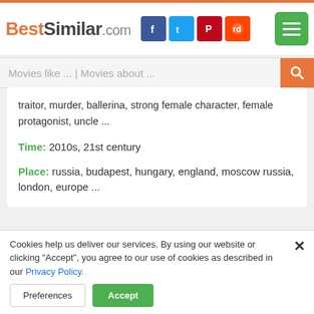BestSimilar.com
Movies like ... | Movies about ...
traitor, murder, ballerina, strong female character, female protagonist, uncle ...
Time: 2010s, 21st century
Place: russia, budapest, hungary, england, moscow russia, london, europe ...
Movie in categories
[Figure (photo): Movie thumbnail with badge showing 322]
[Figure (photo): Movie thumbnail with badge showing 369]
Cookies help us deliver our services. By using our website or clicking "Accept", you agree to our use of cookies as described in our Privacy Policy.